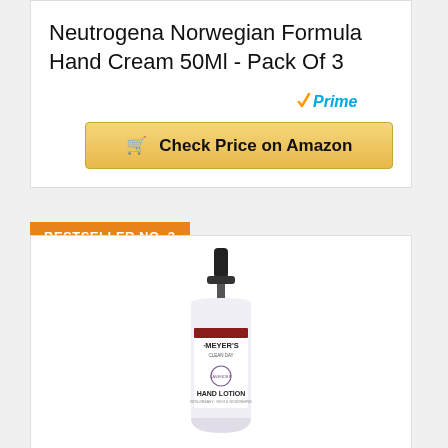Neutrogena Norwegian Formula Hand Cream 50Ml - Pack Of 3
[Figure (logo): Amazon Prime logo with blue checkmark and 'Prime' text in blue italic]
Check Price on Amazon
BESTSELLER NO. 3
[Figure (photo): Mrs. Meyer's Clean Day Hand Lotion bottle with pump dispenser, lavender scent]
Mrs. Meyer's Hand Lotion For Dry Hands, Non-Greasy Moisturizer Made